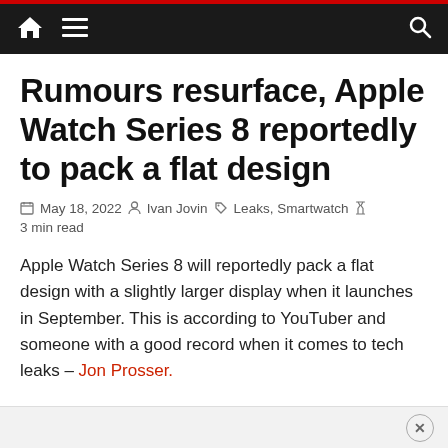Navigation bar with home, menu, and search icons
Rumours resurface, Apple Watch Series 8 reportedly to pack a flat design
May 18, 2022 · Ivan Jovin · Leaks, Smartwatch · 3 min read
Apple Watch Series 8 will reportedly pack a flat design with a slightly larger display when it launches in September. This is according to YouTuber and someone with a good record when it comes to tech leaks – Jon Prosser.
Ad close button